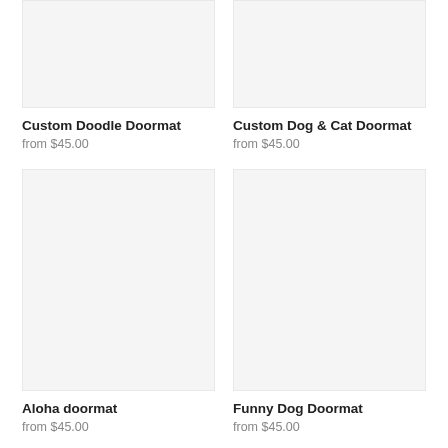[Figure (photo): Product image placeholder for Custom Doodle Doormat, light gray background]
Custom Doodle Doormat
from $45.00
[Figure (photo): Product image placeholder for Custom Dog & Cat Doormat, light gray background]
Custom Dog & Cat Doormat
from $45.00
[Figure (photo): Product image placeholder for Aloha doormat, light gray background]
Aloha doormat
from $45.00
[Figure (photo): Product image placeholder for Funny Dog Doormat, light gray background]
Funny Dog Doormat
from $45.00